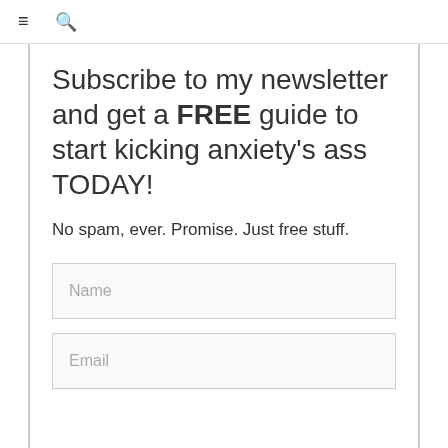≡  🔍
Subscribe to my newsletter and get a FREE guide to start kicking anxiety's ass TODAY!
No spam, ever. Promise. Just free stuff.
Name
Email